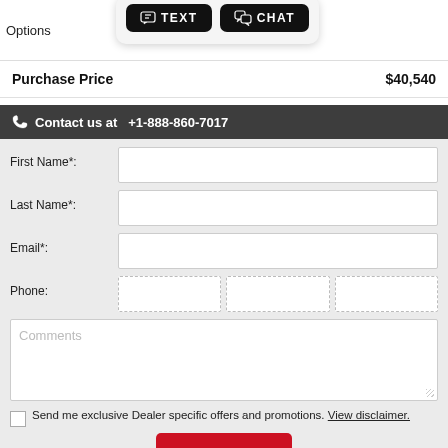[Figure (screenshot): Top bar showing Options label and two black buttons: TEXT and CHAT with icons]
Purchase Price   $40,540
Contact us at  +1-888-860-7017
First Name*:
Last Name*:
Email*:
Phone:
Comments
Send me exclusive Dealer specific offers and promotions. View disclaimer.